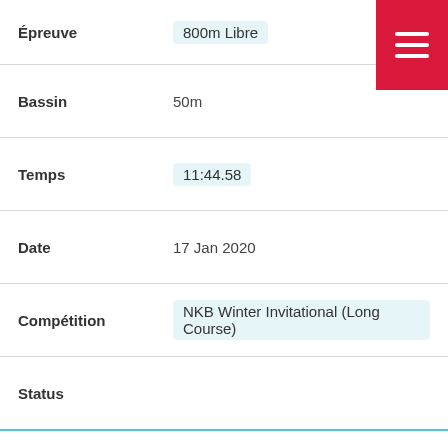| Field | Value |
| --- | --- |
| Épreuve | 800m Libre |
| Bassin | 50m |
| Temps | 11:44.58 |
| Date | 17 Jan 2020 |
| Compétition | NKB Winter Invitational (Long Course) |
| Status |  |
| Épreuve | 200m Dos |
| Bassin | 25m |
| Temps | 2:59.28 |